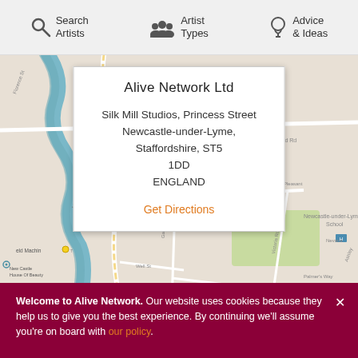Search Artists | Artist Types | Advice & Ideas
[Figure (map): Google Maps view of Newcastle-under-Lyme area showing streets including West St, Princess Street area, Garden St, Victoria Rd, and surrounding roads. A river/canal runs through the left side.]
Alive Network Ltd
Silk Mill Studios, Princess Street
Newcastle-under-Lyme, Staffordshire, ST5 1DD
ENGLAND
Get Directions
Customer service
Welcome to Alive Network. Our website uses cookies because they help us to give you the best experience. By continuing we'll assume you're on board with our policy.